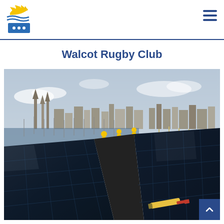Walcot Rugby Club website header with logo and navigation menu
Walcot Rugby Club
[Figure (photo): Workers installing solar panels on a rooftop with a town skyline and a harbour with boats in the background. A screwdriver is visible in the foreground.]
[Figure (logo): Company logo with yellow sunburst, blue wave lines, and blue rectangle with dots]